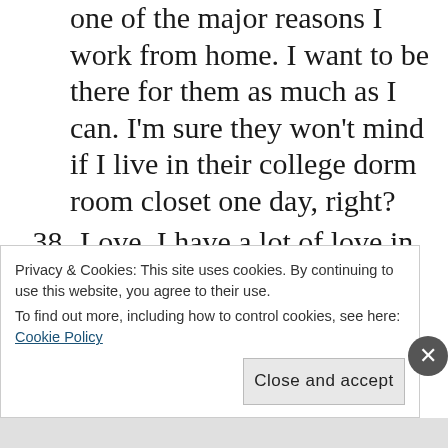one of the major reasons I work from home. I want to be there for them as much as I can. I'm sure they won't mind if I live in their college dorm room closet one day, right?
38. Love. I have a lot of love in my life and I'm forever grateful for all of it.
39. Meditation. It helps calm my racing mind.
40. Christmas lights. I could sit out in the living room all night and just gaze at the tree. Very peaceful.
Privacy & Cookies: This site uses cookies. By continuing to use this website, you agree to their use.
To find out more, including how to control cookies, see here: Cookie Policy